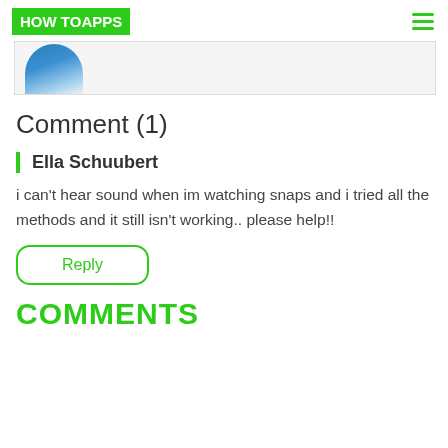HOW TO APPS
[Figure (photo): Partial view of a person's avatar/profile image in a card strip]
Comment (1)
Ella Schuubert
i can't hear sound when im watching snaps and i tried all the methods and it still isn't working.. please help!!
Reply
COMMENTS